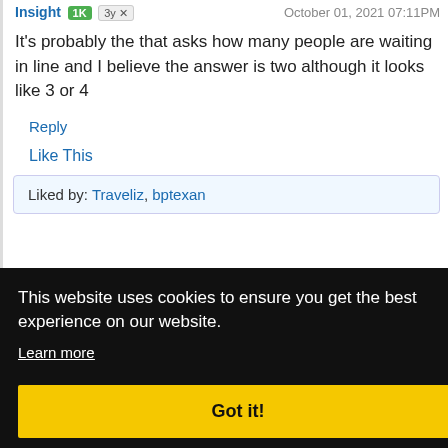insight 1K 3y — October 01, 2021 07:11PM
It's probably the that asks how many people are waiting in line and I believe the answer is two although it looks like 3 or 4
Reply
Like This
Liked by: Traveliz, bptexan
36AM
e is 3. ble at e.
s of monies
Reply
This website uses cookies to ensure you get the best experience on our website.
Learn more
Got it!